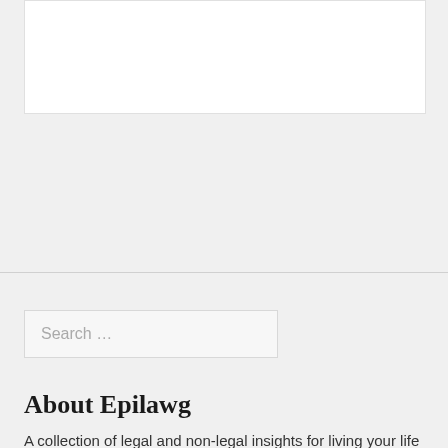[Figure (other): White rectangular box area at top of page, likely an image or advertisement placeholder]
Search …
About Epilawg
A collection of legal and non-legal insights for living your life and